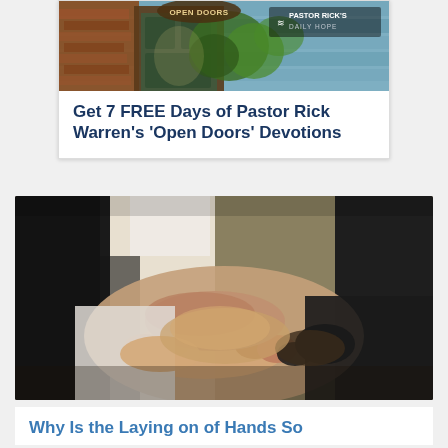[Figure (photo): Ad banner with image of open door/doorway with brick wall and blue painted wood, overlaid with Pastor Rick's Daily Hope logo in white]
Get 7 FREE Days of Pastor Rick Warren's 'Open Doors' Devotions
[Figure (photo): Multiple people in business attire joining hands together in a group handshake/team gesture, close-up view]
Why Is the Laying on of Hands So Significant?